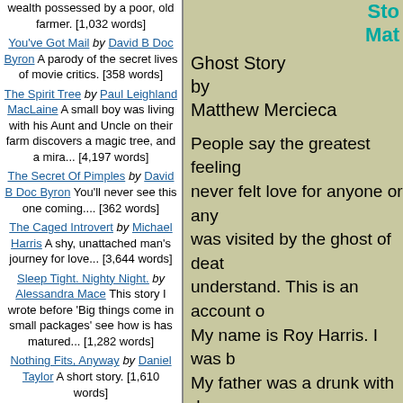wealth possessed by a poor, old farmer. [1,032 words]
You've Got Mail by David B Doc Byron A parody of the secret lives of movie critics. [358 words]
The Spirit Tree by Paul Leighland MacLaine A small boy was living with his Aunt and Uncle on their farm discovers a magic tree, and a mira... [4,197 words]
The Secret Of Pimples by David B Doc Byron You'll never see this one coming.... [362 words]
The Caged Introvert by Michael Harris A shy, unattached man's journey for love... [3,644 words]
Sleep Tight. Nighty Night. by Alessandra Mace This story I wrote before 'Big things come in small packages' see how is has matured... [1,282 words]
Nothing Fits, Anyway by Daniel Taylor A short story. [1,610 words]
Night Bite! by Frank Dunsmore Some believe in vampires and some wannabe vampires but Lieutenant Schmidt and his...
Stor... Mat...
Ghost Story
by
Matthew Mercieca
People say the greatest feeling... never felt love for anyone or any... was visited by the ghost of deat... understand. This is an account o... My name is Roy Harris. I was b... My father was a drunk with drug... her. She died soon after giving b... an orphanage as my father O.D... Maybe this is where my hate ca... me worthless, junk. When he di... happy. Call me what you will, ev... Soon after that I was taken to a... The orphanage was a nice plac... bunch of snobs. My first day the... when people looked at me. Like... different from them...